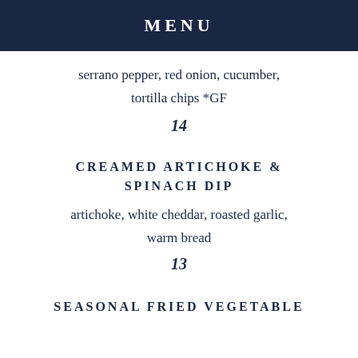MENU
serrano pepper, red onion, cucumber, tortilla chips *GF
14
CREAMED ARTICHOKE & SPINACH DIP
artichoke, white cheddar, roasted garlic, warm bread
13
SEASONAL FRIED VEGETABLE